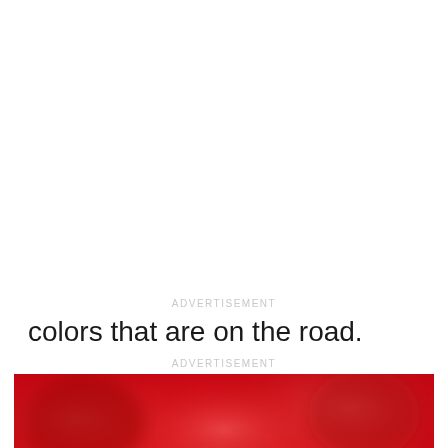ADVERTISEMENT
colors that are on the road.
ADVERTISEMENT
[Figure (photo): A blurred red abstract background image with the MotorBiscuit logo centered on top. The logo consists of a stylized arrow/bookmark icon in red and gray, followed by the text 'Motor' in regular weight and 'Biscuit' in bold, both in dark blue-gray color.]